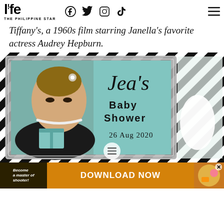life THE PHILIPPINE STAR [Facebook] [Twitter] [Instagram] [TikTok] [Menu]
Tiffany's, a 1960s film starring Janella's favorite actress Audrey Hepburn.
[Figure (photo): Baby shower signage featuring an Audrey Hepburn illustration in a silver ornate frame with black and white diagonal stripes background. Text reads: Jea's Baby Shower 26 AUG 2020. A white flower and tiffany-blue box are partially visible.]
[Figure (other): Advertisement banner: orange/gold background with text 'Become a master of shooter!' on left dark section, 'DOWNLOAD NOW' in white bold text center, colorful gaming imagery on right with X close button.]